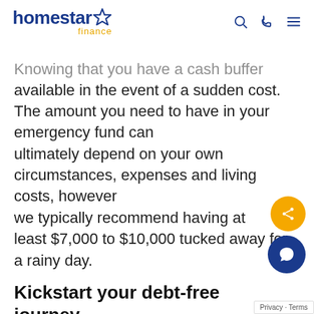[Figure (logo): Homestar Finance logo with star icon and 'finance' subtitle in gold, navigation icons (search, phone, menu) on the right]
Knowing that you have a cash buffer available in the event of a sudden cost. The amount you need to have in your emergency fund can ultimately depend on your own circumstances, expenses and living costs, however we typically recommend having at least $7,000 to $10,000 tucked away for a rainy day.
Kickstart your debt-free journey
Whether it's a credit card you've had